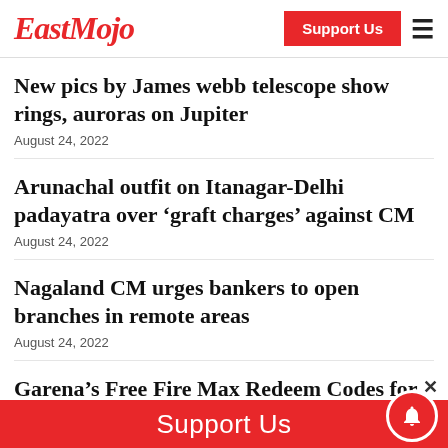EastMojo | Support Us
New pics by James webb telescope show rings, auroras on Jupiter
August 24, 2022
Arunachal outfit on Itanagar-Delhi padayatra over ‘graft charges’ against CM
August 24, 2022
Nagaland CM urges bankers to open branches in remote areas
August 24, 2022
Garena’s Free Fire Max Redeem Codes for August 24, 2022
Support Us